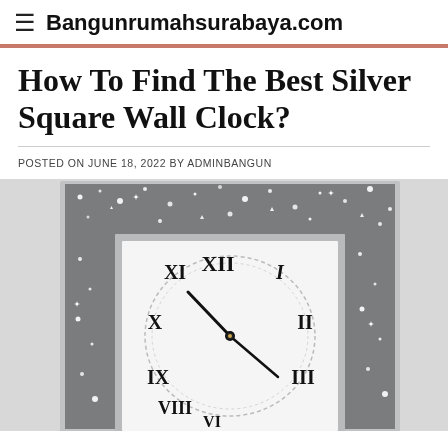≡ Bangunrumahsurabaya.com
How To Find The Best Silver Square Wall Clock?
POSTED ON JUNE 18, 2022 BY ADMINBANGUN
[Figure (photo): A silver square wall clock with a crystal/diamond-encrusted glittery mirrored frame, white clock face with Roman numerals, and black clock hands.]